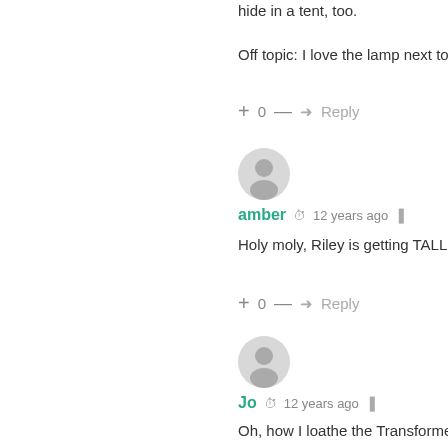hide in a tent, too.
Off topic: I love the lamp next to y
+ 0 — ➜ Reply
[Figure (illustration): Default user avatar circle for amber]
amber  12 years ago  share
Holy moly, Riley is getting TALL....
+ 0 — ➜ Reply
[Figure (illustration): Default user avatar circle for Jo]
Jo  12 years ago  share
Oh, how I loathe the Transformer... that?!? I have a masters degree... Grrrr....